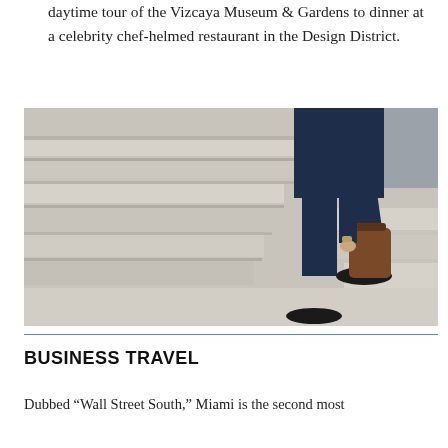daytime tour of the Vizcaya Museum & Gardens to dinner at a celebrity chef-helmed restaurant in the Design District.
[Figure (photo): A man in a dark navy suit carrying a brown leather bag, walking up large stone/marble steps, photographed from the side at mid-body level.]
BUSINESS TRAVEL
Dubbed “Wall Street South,” Miami is the second most